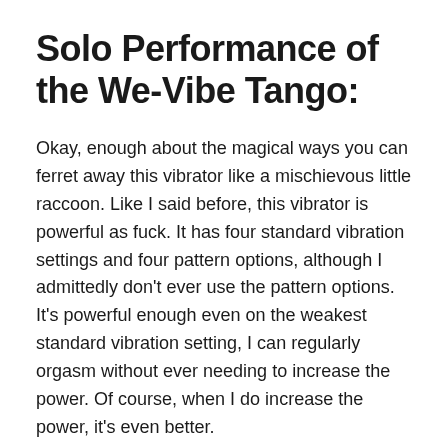Solo Performance of the We-Vibe Tango:
Okay, enough about the magical ways you can ferret away this vibrator like a mischievous little raccoon. Like I said before, this vibrator is powerful as fuck. It has four standard vibration settings and four pattern options, although I admittedly don't ever use the pattern options. It's powerful enough even on the weakest standard vibration setting, I can regularly orgasm without ever needing to increase the power. Of course, when I do increase the power, it's even better.
Cheap, buzzy vibrators often make your genitals feel irritated or get numbed out. The Tango doesn't suffer from this problem. It has deep, rumbly